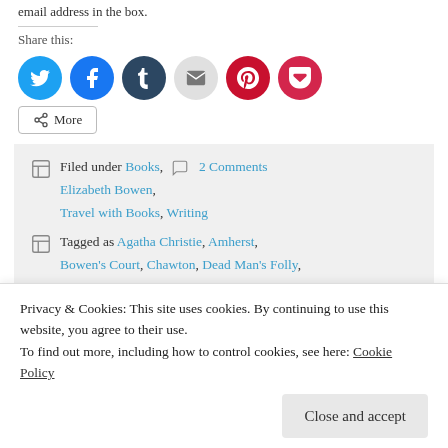email address in the box.
Share this:
[Figure (infographic): Social sharing buttons: Twitter (blue circle), Facebook (blue circle), Tumblr (dark blue circle), Email (grey circle), Pinterest (red circle), Pocket (red circle), and a More button]
Filed under Books, 2 Comments Elizabeth Bowen, Travel with Books, Writing
Tagged as Agatha Christie, Amherst, Bowen's Court, Chawton, Dead Man's Folly, Elizabeth Bowen, Emily Dickinson, Greenway, Jane Austen,
Privacy & Cookies: This site uses cookies. By continuing to use this website, you agree to their use.
To find out more, including how to control cookies, see here: Cookie Policy
Close and accept